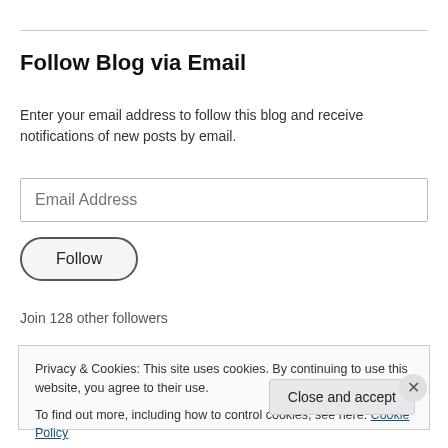Follow Blog via Email
Enter your email address to follow this blog and receive notifications of new posts by email.
[Figure (screenshot): Email address input field with placeholder text 'Email Address']
[Figure (screenshot): Follow button with rounded border]
Join 128 other followers
Privacy & Cookies: This site uses cookies. By continuing to use this website, you agree to their use. To find out more, including how to control cookies, see here: Cookie Policy